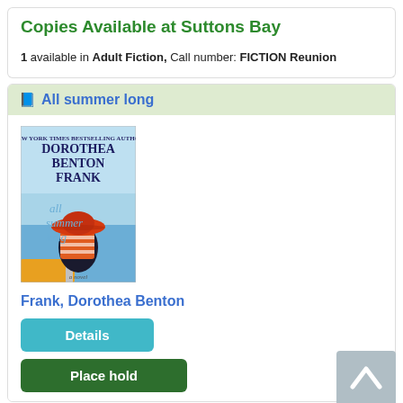Copies Available at Suttons Bay
1 available in Adult Fiction, Call number: FICTION Reunion
All summer long
[Figure (photo): Book cover of 'All Summer Long' by Dorothea Benton Frank, showing a woman in a red striped hat and swimsuit viewed from behind on a boat, with ocean in the background.]
Frank, Dorothea Benton
Details
Place hold